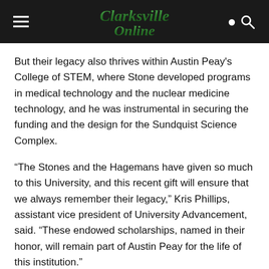Clarksville Online
But their legacy also thrives within Austin Peay's College of STEM, where Stone developed programs in medical technology and the nuclear medicine technology, and he was instrumental in securing the funding and the design for the Sundquist Science Complex.
“The Stones and the Hagemans have given so much to this University, and this recent gift will ensure that we always remember their legacy,” Kris Phillips, assistant vice president of University Advancement, said. “These endowed scholarships, named in their honor, will remain part of Austin Peay for the life of this institution.”
For more information on this or other scholarships, contact the APSU Office of Advancement at